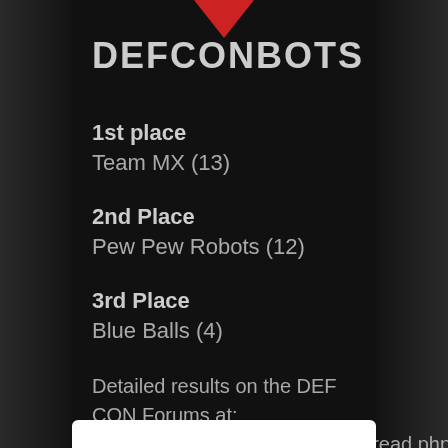[Figure (illustration): Red downward-pointing arrow/chevron at top center of dark panel]
DEFCONBOTS
1st place
Team MX (13)
2nd Place
Pew Pew Robots (12)
3rd Place
Blue Balls (4)
Detailed results on the DEF CON Forums at: https://forum.defcon.org/showthread.php?t=14025